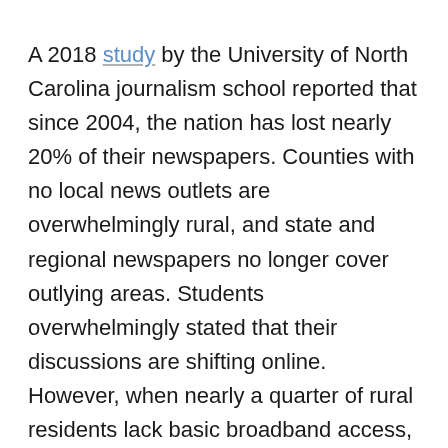A 2018 study by the University of North Carolina journalism school reported that since 2004, the nation has lost nearly 20% of their newspapers. Counties with no local news outlets are overwhelmingly rural, and state and regional newspapers no longer cover outlying areas. Students overwhelmingly stated that their discussions are shifting online. However, when nearly a quarter of rural residents lack basic broadband access, how can they be expected to keep up or contribute to the latest discourse? Strengthening local newsrooms and media outlets will allow for more informed discourse on college campuses as young adults from all regions of all identities flock to campuses.